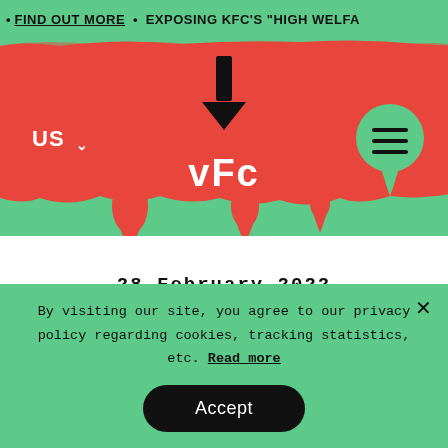• FIND OUT MORE • EXPOSING KFC'S "HIGH WELFA...
[Figure (logo): VFC logo: downward arrow above text 'vFc' in white on red brushstroke background, with 'US' label left and hamburger menu button right]
28 February 2022
By visiting our site, you agree to our privacy policy regarding cookies, tracking statistics, etc. Read more
Accept